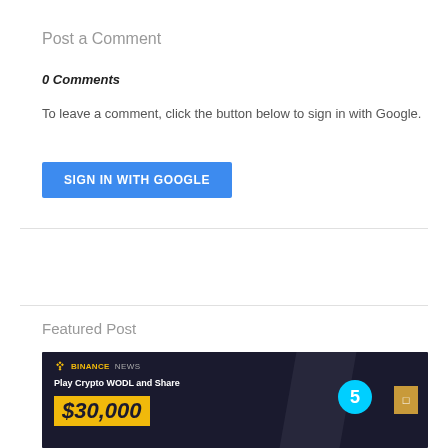Post a Comment
0 Comments
To leave a comment, click the button below to sign in with Google.
SIGN IN WITH GOOGLE
Featured Post
[Figure (photo): Binance News advertisement banner: dark background with 'Play Crypto WODL and Share $30,000' text and decorative elements including a blue circle with '5', a gold box, and coin imagery.]